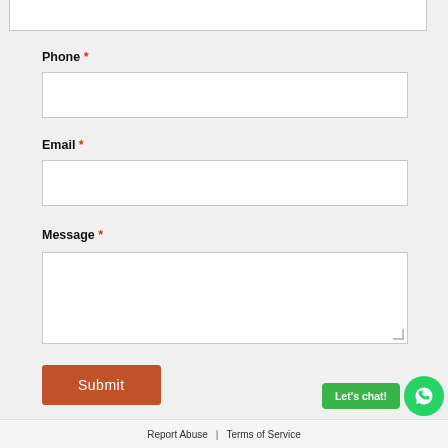[Figure (screenshot): Top portion of a partially visible text input box at the very top of the page]
Phone *
[Figure (screenshot): Empty Phone input field]
Email *
[Figure (screenshot): Empty Email input field]
Message *
[Figure (screenshot): Empty Message textarea with resize handle]
[Figure (screenshot): Submit button (brown/terracotta color)]
[Figure (screenshot): Let's chat! green button and WhatsApp circle icon]
Report Abuse | Terms of Service